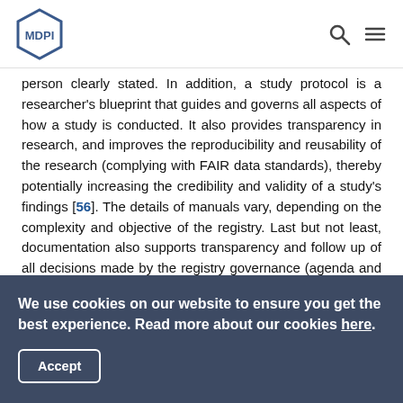MDPI
person clearly stated. In addition, a study protocol is a researcher's blueprint that guides and governs all aspects of how a study is conducted. It also provides transparency in research, and improves the reproducibility and reusability of the research (complying with FAIR data standards), thereby potentially increasing the credibility and validity of a study's findings [56]. The details of manuals vary, depending on the complexity and objective of the registry. Last but not least, documentation also supports transparency and follow up of all decisions made by the registry governance (agenda and minutes of meetings, contractual documents and possible amendments, etc.).
Recommendation #15: Developing and maintaining
We use cookies on our website to ensure you get the best experience. Read more about our cookies here.
Accept